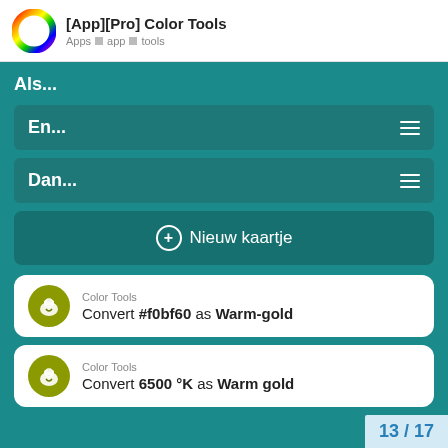[App][Pro] Color Tools — Apps app tools
Als...
En...
Dan...
+ Nieuw kaartje
Color Tools
Convert #f0bf60 as Warm-gold
Color Tools
Convert 6500 °K as Warm gold
13 / 17